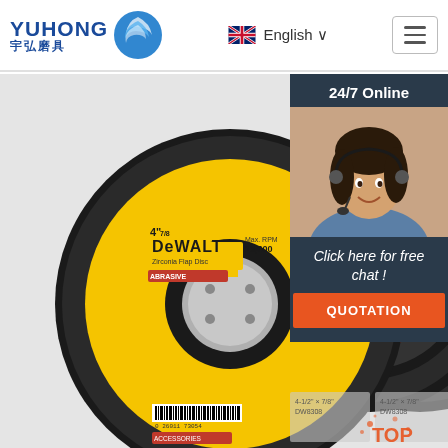YUHONG 宇弘磨具 | English | Navigation
[Figure (photo): Multiple DeWalt flap disc abrasive grinding wheels stacked, yellow and black labels, on a grey background]
[Figure (photo): Customer service agent woman with headset smiling, with 24/7 Online label and free chat / QUOTATION call-to-action overlay]